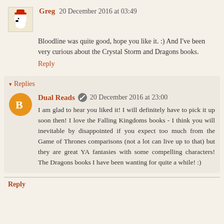Greg  20 December 2016 at 03:49
Bloodline was quite good, hope you like it. :) And I've been very curious about the Crystal Storm and Dragons books.
Reply
Replies
Dual Reads  20 December 2016 at 23:00
I am glad to hear you liked it! I will definitely have to pick it up soon then! I love the Falling Kingdoms books - I think you will inevitable by disappointed if you expect too much from the Game of Thrones comparisons (not a lot can live up to that) but they are great YA fantasies with some compelling characters! The Dragons books I have been wanting for quite a while! :)
Reply